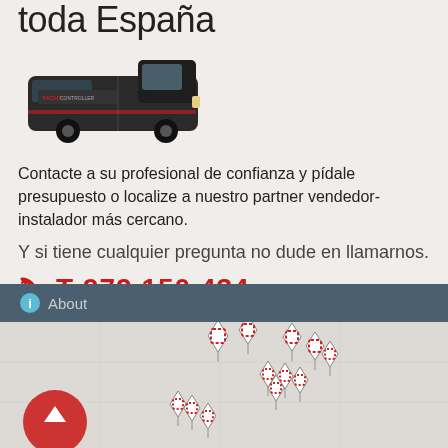toda España
[Figure (photo): A dark van with 'YACHT CONTROLLER' branding on the side]
Contacte a su profesional de confianza y pídale presupuesto o localize a nuestro partner vendedor-instalador más cercano.
Y si tiene cualquier pregunta no dude en llamarnos.
T 972 150 434
[Figure (map): A map of Spain showing multiple dealer/installer location pins clustered in the center-east region]